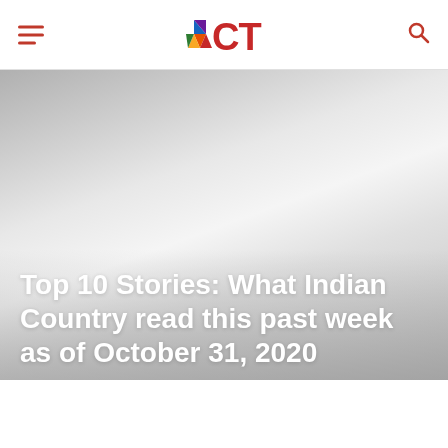ICT
[Figure (photo): Gray gradient hero image background, light silver/gray tones with radial highlight in center]
Top 10 Stories: What Indian Country read this past week as of October 31, 2020